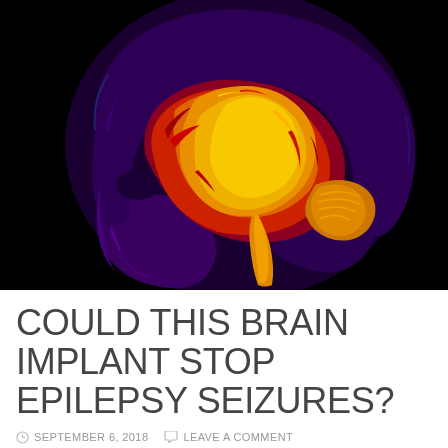[Figure (photo): False-color MRI scan of a human head in sagittal profile on a black background. The brain is rendered in vivid yellow, orange, and red tones showing the cortical folds and internal structures. The skull and face are rendered in purple and blue hues. The spinal cord descends in yellow-orange. Background is solid black.]
COULD THIS BRAIN IMPLANT STOP EPILEPSY SEIZURES?
SEPTEMBER 6, 2018   LEAVE A COMMENT